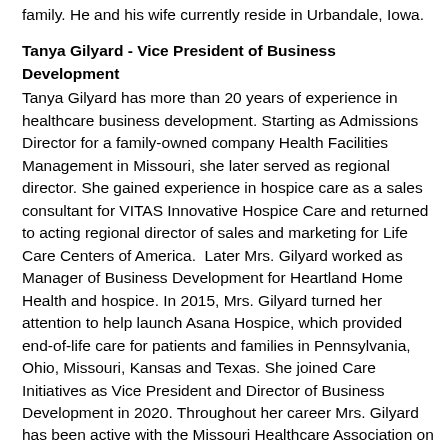family. He and his wife currently reside in Urbandale, Iowa.
Tanya Gilyard - Vice President of Business Development
Tanya Gilyard has more than 20 years of experience in healthcare business development. Starting as Admissions Director for a family-owned company Health Facilities Management in Missouri, she later served as regional director. She gained experience in hospice care as a sales consultant for VITAS Innovative Hospice Care and returned to acting regional director of sales and marketing for Life Care Centers of America.  Later Mrs. Gilyard worked as Manager of Business Development for Heartland Home Health and hospice. In 2015, Mrs. Gilyard turned her attention to help launch Asana Hospice, which provided end-of-life care for patients and families in Pennsylvania, Ohio, Missouri, Kansas and Texas. She joined Care Initiatives as Vice President and Director of Business Development in 2020. Throughout her career Mrs. Gilyard has been active with the Missouri Healthcare Association on its education committee and later helped start the Missouri Bio-ethics Committee. She also